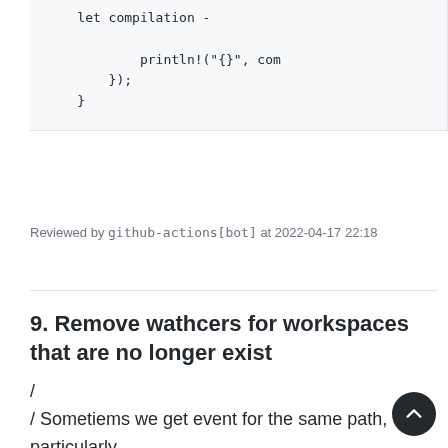let compilation -
        println!("{}", com
    });
}
Reviewed by github-actions[bot] at 2022-04-17 22:18
9. Remove wathcers for workspaces that are no longer exist
/ 
/ Sometiems we get event for the same path, particularly
/ ModifyKind::Name::Any is ommited twice for the new path
/ and once for the old path.